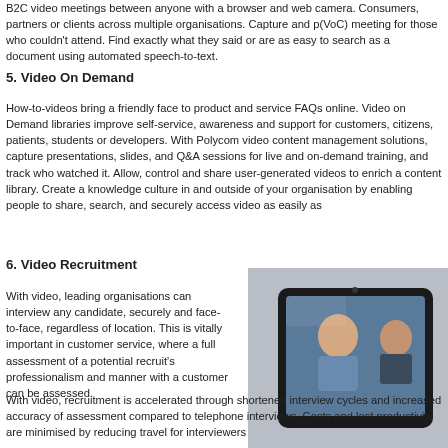B2C video meetings between anyone with a browser and web camera. Consumers, partners or clients across multiple organisations. Capture and publish (VoC) meeting for those who couldn't attend. Find exactly what they said or meetings are as easy to search as a document using automated speech-to-text.
5. Video On Demand
How-to-videos bring a friendly face to product and service FAQs online. Video on Demand libraries improve self-service, awareness and support for customers, citizens, patients, students or developers. With Polycom video content management solutions, capture presentations, slides, and Q&A sessions for live and on-demand training, and track who watched it. Allow, control and share user-generated videos to enrich a content library. Create a knowledge culture in and outside of your organisation by enabling people to share, search, and securely access video as easily as
6. Video Recruitment
With video, leading organisations can interview any candidate, securely and face-to-face, regardless of location. This is vitally important in customer service, where a full assessment of a potential recruit's professionalism and manner with a customer can be assessed.
[Figure (photo): Photo of people on a video call displayed on a tablet or screen, showing a woman and another person in a meeting/interview setting.]
With video, recruitment is accelerated through shortened interview cycles and increased accuracy of assessment compared to telephone interviews. Costs and lost productivity are minimised by reducing travel for interviewers